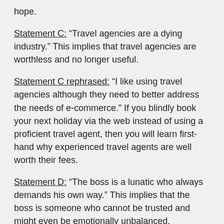hope.
Statement C: “Travel agencies are a dying industry.” This implies that travel agencies are worthless and no longer useful.
Statement C rephrased: “I like using travel agencies although they need to better address the needs of e-commerce.” If you blindly book your next holiday via the web instead of using a proficient travel agent, then you will learn first-hand why experienced travel agents are well worth their fees.
Statement D: “The boss is a lunatic who always demands his own way.” This implies that the boss is someone who cannot be trusted and might even be emotionally unbalanced.
Statement D rephrased: “I have a difficult boss, but he